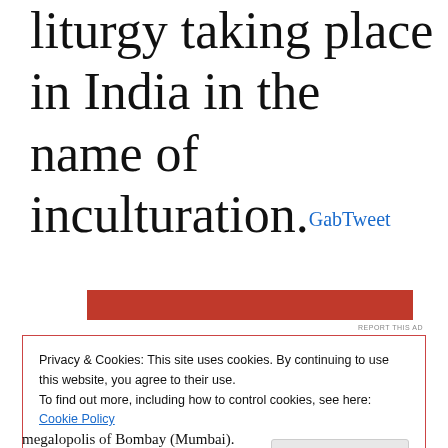liturgy taking place in India in the name of inculturation. GabTweet
[Figure (other): Red advertisement banner with white border]
REPORT THIS AD
Privacy & Cookies: This site uses cookies. By continuing to use this website, you agree to their use.
To find out more, including how to control cookies, see here: Cookie Policy
Close and accept
megalopolis of Bombay (Mumbai).